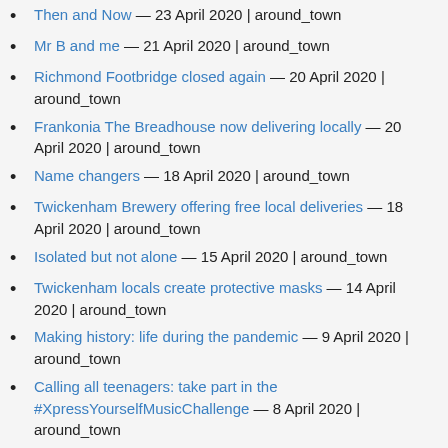Then and Now — 23 April 2020 | around_town
Mr B and me — 21 April 2020 | around_town
Richmond Footbridge closed again — 20 April 2020 | around_town
Frankonia The Breadhouse now delivering locally — 20 April 2020 | around_town
Name changers — 18 April 2020 | around_town
Twickenham Brewery offering free local deliveries — 18 April 2020 | around_town
Isolated but not alone — 15 April 2020 | around_town
Twickenham locals create protective masks — 14 April 2020 | around_town
Making history: life during the pandemic — 9 April 2020 | around_town
Calling all teenagers: take part in the #XpressYourselfMusicChallenge — 8 April 2020 | around_town
Easter Bank Holiday recycling and waste collection — 6 April 2020 | around_town